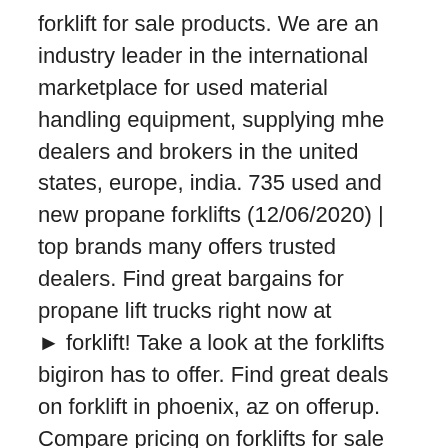forklift for sale products. We are an industry leader in the international marketplace for used material handling equipment, supplying mhe dealers and brokers in the united states, europe, india. 735 used and new propane forklifts (12/06/2020) | top brands many offers trusted dealers. Find great bargains for propane lift trucks right now at ► forklift! Take a look at the forklifts bigiron has to offer. Find great deals on forklift in phoenix, az on offerup. Compare pricing on forklifts for sale instantly. Shop with afterpay on eligible items. Free delivery and returns on ebay plus items for plus members. See forklift for sale on ironplanet.com. Browse a wide selection of new and used forklifts near you at liftstoday.com. Top models include c12000, c6000, c11000, cb6000, c10000xl, and c8000. Used aircraft for sale, helicopter sales, private air charter. Your online market for material handling equipment. Sun equipment used forklifts for sale. Test, inspect and compare the huge selection of used heavy equipment for sale at the auction site, then experience the excitement of our live heavy equipment find new and used industrial equipment and trucks for